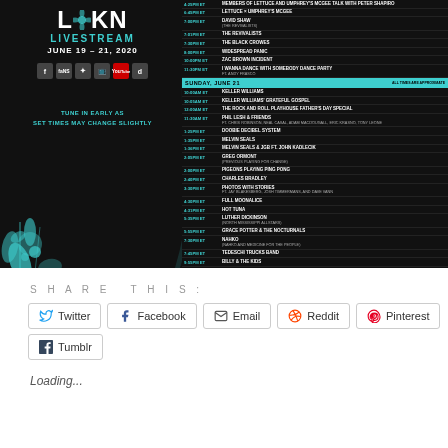[Figure (infographic): LOCKN Livestream June 19-21 2020 festival schedule poster with dark background, teal accents, flower graphics, social media icons, and full performance schedule for Sunday June 21 including artists like Keller Williams, Phil Lesh & Friends, Grace Potter, Tedeschi Trucks Band, and Trey Anastasio Band ft Derek Trucks]
SHARE THIS:
Twitter
Facebook
Email
Reddit
Pinterest
Tumblr
Loading...